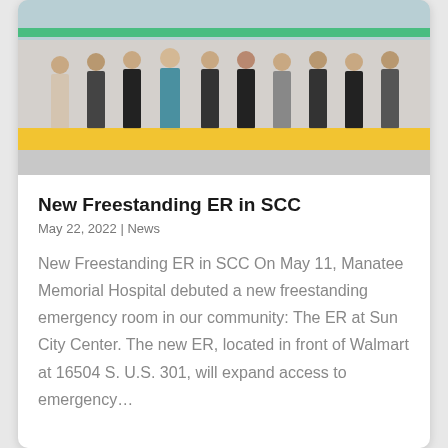[Figure (photo): Group of people standing on a yellow platform during a ribbon-cutting ceremony for the new freestanding ER at Sun City Center. A green ribbon is stretched across the front.]
New Freestanding ER in SCC
May 22, 2022 | News
New Freestanding ER in SCC On May 11, Manatee Memorial Hospital debuted a new freestanding emergency room in our community: The ER at Sun City Center. The new ER, located in front of Walmart at 16504 S. U.S. 301, will expand access to emergency…